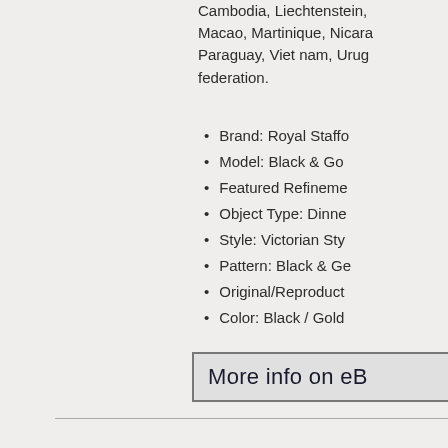Cambodia, Liechtenstein, Macao, Martinique, Nicaragua, Paraguay, Viet nam, Uruguay federation.
Brand: Royal Staffo
Model: Black & Go
Featured Refineme
Object Type: Dinne
Style: Victorian Sty
Pattern: Black & Ge
Original/Reproduct
Color: Black / Gold
More info on eB